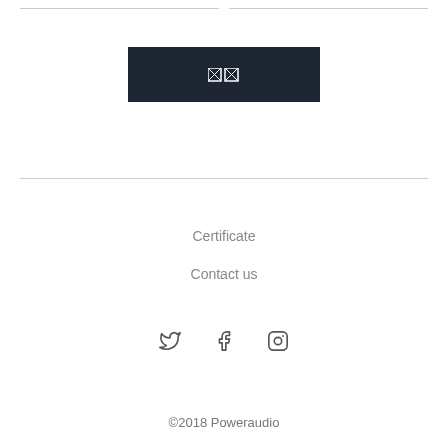[Figure (logo): Dark navy/charcoal banner with two small pixel/icon boxes representing a logo]
Certificate
Contact us
[Figure (other): Social media icons: Twitter bird, Facebook f, Instagram camera]
©2018 Poweraudio